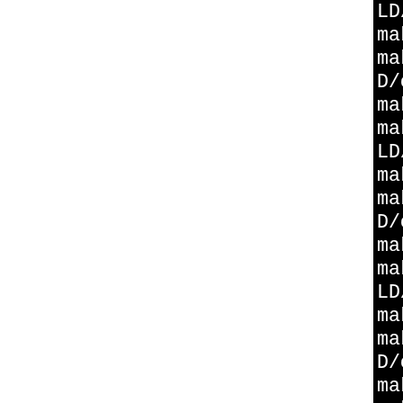[Figure (screenshot): Terminal/console output showing make build process for openssl-1.0.2j, with lines about crypto/whrlpool, crypto/des, crypto/aes, and crypto/rc2 directories being entered, nothing to be done, and leaving directory messages.]